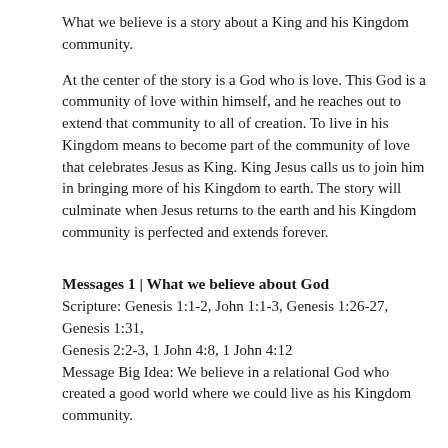What we believe is a story about a King and his Kingdom community.
At the center of the story is a God who is love. This God is a community of love within himself, and he reaches out to extend that community to all of creation. To live in his Kingdom means to become part of the community of love that celebrates Jesus as King. King Jesus calls us to join him in bringing more of his Kingdom to earth. The story will culminate when Jesus returns to the earth and his Kingdom community is perfected and extends forever.
Messages 1 | What we believe about God
Scripture: Genesis 1:1-2, John 1:1-3, Genesis 1:26-27, Genesis 1:31, Genesis 2:2-3, 1 John 4:8, 1 John 4:12
Message Big Idea: We believe in a relational God who created a good world where we could live as his Kingdom community.
Message 2 | What we believe about Sin
Scripture: Genesis 3, Genesis 11:1-9, Romans 3:23, 1 John 1:8-9, John 1:14-15, Romans 5:8, 2 Corinthians 5:21, Matthew 4:17